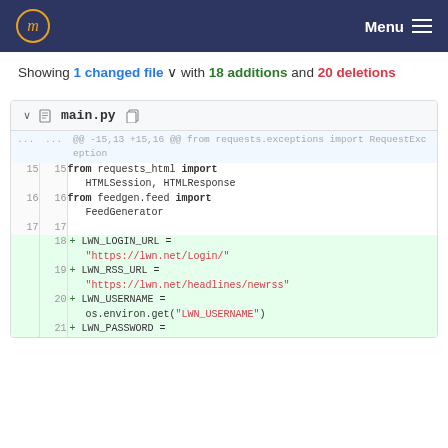Menu
Showing 1 changed file with 18 additions and 20 deletions
[Figure (screenshot): Code diff view of main.py showing lines 15-21 with additions highlighted in green. Lines 15-17 show unchanged code: 'from requests_html import HTMLSession, HTMLResponse', 'from feedgen.feed import FeedGenerator', and blank line. Lines 18-21 show new additions: LWN_LOGIN_URL, LWN_RSS_URL, LWN_USERNAME, and LWN_PASSWORD variable assignments.]